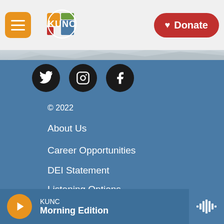[Figure (logo): KUNC radio station logo with colorful circular design]
Donate
[Figure (illustration): Mountain silhouette background image]
[Figure (illustration): Social media icons: Twitter, Instagram, Facebook]
© 2022
About Us
Career Opportunities
DEI Statement
Listening Options
Privacy Policy
FCC Public File
KUNC Morning Edition